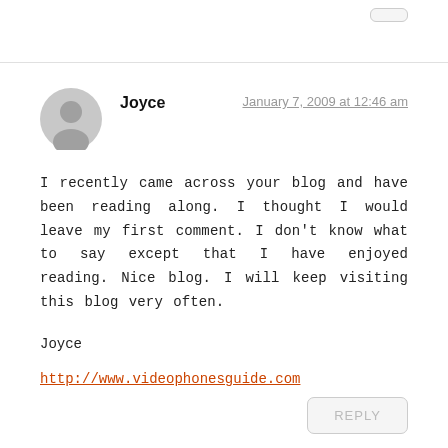Joyce
January 7, 2009 at 12:46 am
I recently came across your blog and have been reading along. I thought I would leave my first comment. I don’t know what to say except that I have enjoyed reading. Nice blog. I will keep visiting this blog very often.
Joyce
http://www.videophonesguide.com